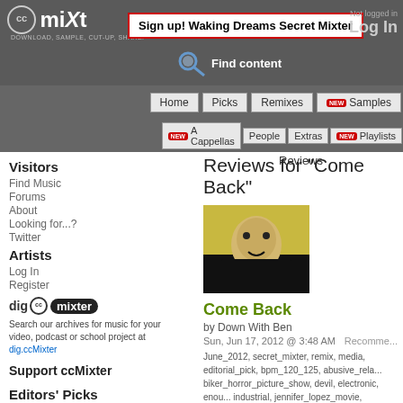ccMixter - Sign up! Waking Dreams Secret Mixter - Not logged in - Log In
Home | Picks | Remixes | NEW Samples
NEW A Cappellas | People | Extras | NEW Playlists | Reviews
Visitors
Find Music
Forums
About
Looking for...?
Twitter
Artists
Log In
Register
[Figure (logo): dig ccMixter logo]
Search our archives for music for your video, podcast or school project at dig.ccMixter
Support ccMixter
Editors' Picks
Nadeya (ft. A... Inside Outsid
Reviews for "Come Back"
[Figure (photo): Photo of artist for Come Back - man with open mouth against yellow background]
Come Back
by Down With Ben
Sun, Jun 17, 2012 @ 3:48 AM
Recomme...
June_2012, secret_mixter, remix, media, editorial_pick, bpm_120_125, abusive_rela... biker_horror_picture_show, devil, electronic, enou... industrial, jennifer_lopez_movie, lost_cat, lost_dog... male_vocals, runaway_fugitive, stalker, stalker_th...
Play
Stream